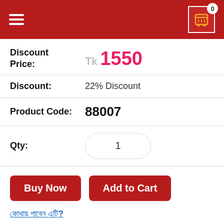[Figure (screenshot): Red header bar with hamburger menu icon on left and shopping cart icon with badge showing 0 on right]
Discount Price: Tk 1550
Discount: 22% Discount
Product Code: 88007
Qty: 1
Buy Now | Add to Cart
কোথায় পাবেন এটি?
Order by a call
8801972277444
Description